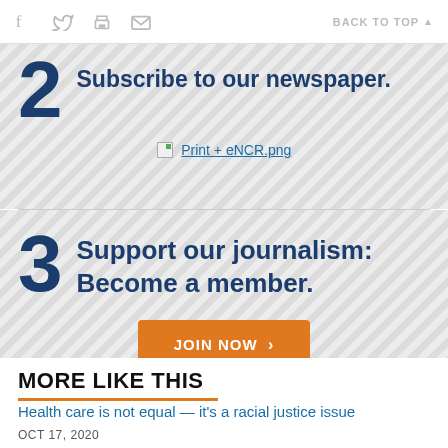f  [twitter]  [print]  [mail]   BACK TO TOP ▲
2  Subscribe to our newspaper.
[Figure (screenshot): Broken image placeholder labeled 'Print + eNCR.png']
3  Support our journalism: Become a member.
JOIN NOW >
MORE LIKE THIS
Health care is not equal — it's a racial justice issue
OCT 17, 2020